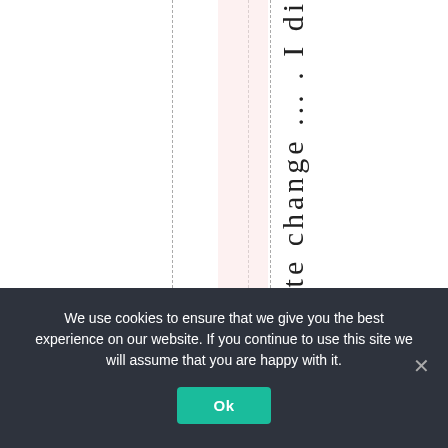climate change ... . I di
We use cookies to ensure that we give you the best experience on our website. If you continue to use this site we will assume that you are happy with it.
Ok